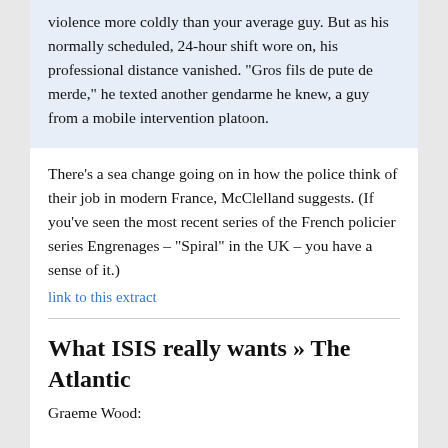violence more coldly than your average guy. But as his normally scheduled, 24-hour shift wore on, his professional distance vanished. "Gros fils de pute de merde," he texted another gendarme he knew, a guy from a mobile intervention platoon.
There's a sea change going on in how the police think of their job in modern France, McClelland suggests. (If you've seen the most recent series of the French policier series Engrenages – "Spiral" in the UK – you have a sense of it.)
link to this extract
What ISIS really wants » The Atlantic
Graeme Wood: